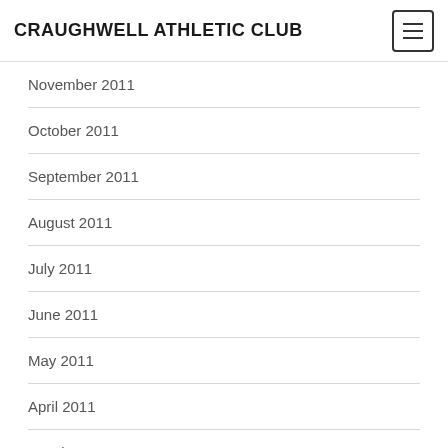CRAUGHWELL ATHLETIC CLUB
November 2011
October 2011
September 2011
August 2011
July 2011
June 2011
May 2011
April 2011
March 2011
February 2011
January 2011